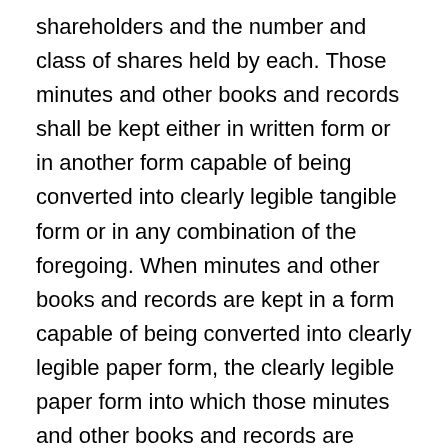shareholders and the number and class of shares held by each. Those minutes and other books and records shall be kept either in written form or in another form capable of being converted into clearly legible tangible form or in any combination of the foregoing. When minutes and other books and records are kept in a form capable of being converted into clearly legible paper form, the clearly legible paper form into which those minutes and other books and records are converted shall be admissible in evidence, and accepted for all other purposes, to the same extent as an original paper record of the same information would have been, provided that the paper form accurately portrays the record.
The following is California Corporations Code section 1507.